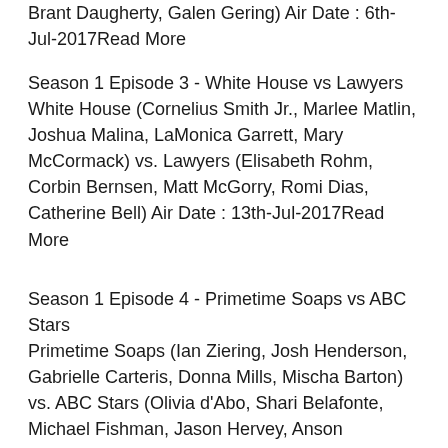Brant Daugherty, Galen Gering) Air Date : 6th-Jul-2017Read More
Season 1 Episode 3 - White House vs Lawyers White House (Cornelius Smith Jr., Marlee Matlin, Joshua Malina, LaMonica Garrett, Mary McCormack) vs. Lawyers (Elisabeth Rohm, Corbin Bernsen, Matt McGorry, Romi Dias, Catherine Bell) Air Date : 13th-Jul-2017Read More
Season 1 Episode 4 - Primetime Soaps vs ABC Stars Primetime Soaps (Ian Ziering, Josh Henderson, Gabrielle Carteris, Donna Mills, Mischa Barton) vs. ABC Stars (Olivia d'Abo, Shari Belafonte, Michael Fishman, Jason Hervey, Anson Williams) Air Date : 20th-Jul-2017Read More